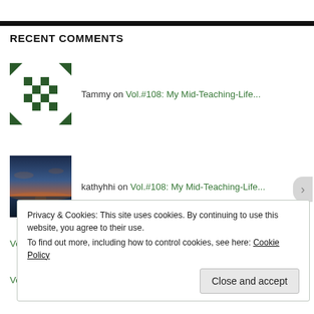RECENT COMMENTS
Tammy on Vol.#108: My Mid-Teaching-Life...
kathyhhi on Vol.#108: My Mid-Teaching-Life...
Vol.#107: NCTE Prese... on Vol.#100: Read Theory Tutorial
Vol.#107: NCTE Prese... on Vol.#94: Five Google Tools tha...
Privacy & Cookies: This site uses cookies. By continuing to use this website, you agree to their use. To find out more, including how to control cookies, see here: Cookie Policy
Close and accept